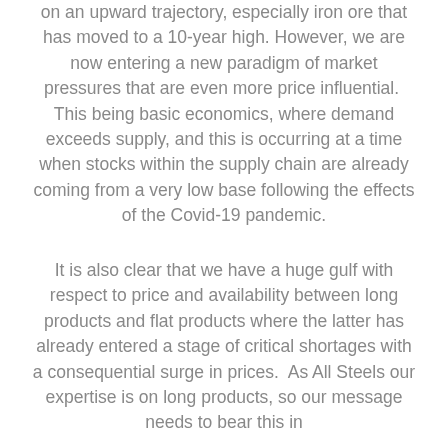on an upward trajectory, especially iron ore that has moved to a 10-year high. However, we are now entering a new paradigm of market pressures that are even more price influential. This being basic economics, where demand exceeds supply, and this is occurring at a time when stocks within the supply chain are already coming from a very low base following the effects of the Covid-19 pandemic.
It is also clear that we have a huge gulf with respect to price and availability between long products and flat products where the latter has already entered a stage of critical shortages with a consequential surge in prices. As All Steels our expertise is on long products, so our message needs to bear this in